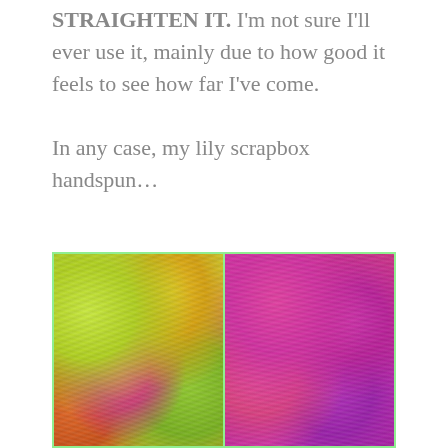STRAIGHTEN IT. I'm not sure I'll ever use it, mainly due to how good it feels to see how far I've come.
In any case, my lily scrapbox handspun...
[Figure (photo): Two side-by-side photos of colorful handspun yarn. Left photo shows yarn with green, yellow, and pink colors. Right photo shows yarn with predominantly pink and magenta colors. Both images are enclosed in a light green border.]